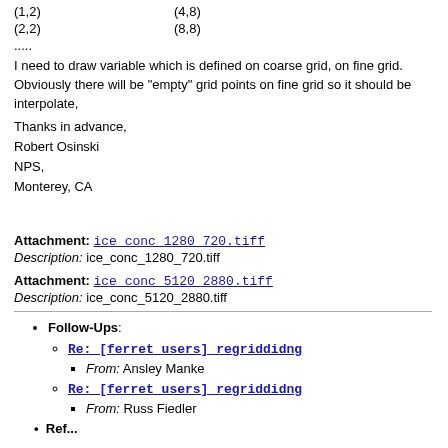(1,2)    (4,8)
(2,2)    (8,8)
.....
I need to draw variable which is defined on coarse grid, on fine grid. Obviously there will be "empty" grid points on fine grid so it should be interpolate,
Thanks in advance,
Robert Osinski
NPS,
Monterey, CA
Attachment: ice conc 1280 720.tiff
Description: ice_conc_1280_720.tiff
Attachment: ice conc 5120 2880.tiff
Description: ice_conc_5120_2880.tiff
Follow-Ups:
Re: [ferret users] regriddidng — From: Ansley Manke
Re: [ferret users] regriddidng — From: Russ Fiedler
Ref...